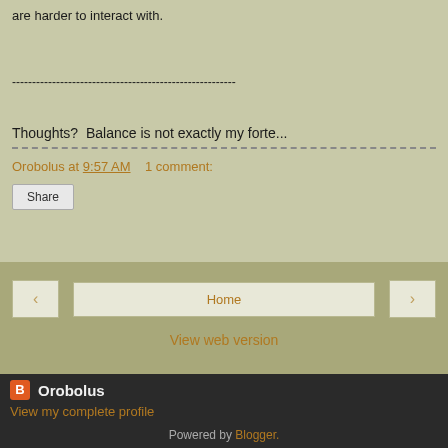are harder to interact with.
--------------------------------------------------------
Thoughts?  Balance is not exactly my forte...
Orobolus at 9:57 AM    1 comment:
Share
< Home >
View web version
Orobolus
View my complete profile
Powered by Blogger.